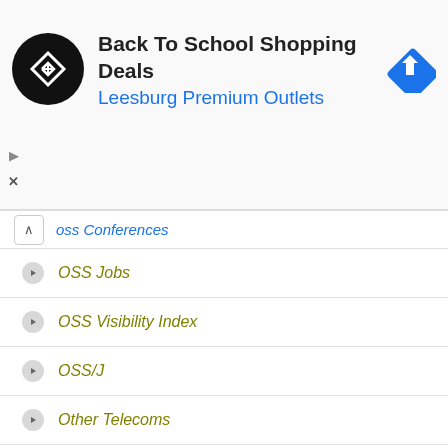[Figure (screenshot): Ad banner: Back To School Shopping Deals at Leesburg Premium Outlets with logo and navigation icon]
OSS Conferences (partial, cut off at top)
OSS Jobs
OSS Visibility Index
OSS/J
Other Telecoms
Plantronics
Portal Software
Pricing and Rating